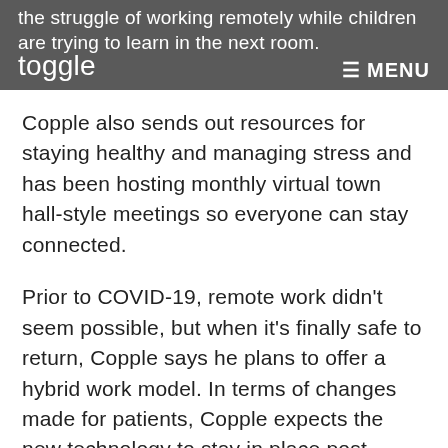the struggle of working remotely while children are trying to learn in the next room.
toggle   ≡ MENU
Copple also sends out resources for staying healthy and managing stress and has been hosting monthly virtual town hall-style meetings so everyone can stay connected.
Prior to COVID-19, remote work didn't seem possible, but when it's finally safe to return, Copple says he plans to offer a hybrid work model. In terms of changes made for patients, Copple expects the new technology to stay in place post-pandemic.
“If nothing else, this has been a good thing to